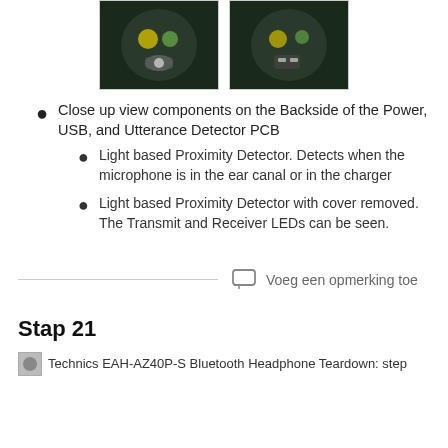[Figure (photo): Two photos showing close up views of PCB components]
Close up view components on the Backside of the Power, USB, and Utterance Detector PCB
Light based Proximity Detector. Detects when the microphone is in the ear canal or in the charger
Light based Proximity Detector with cover removed. The Transmit and Receiver LEDs can be seen.
Voeg een opmerking toe
Stap 21
[Figure (photo): Technics EAH-AZ40P-S Bluetooth Headphone Teardown step image thumbnail]